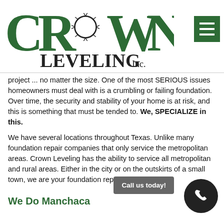[Figure (logo): Crown Leveling Inc. logo — large green serif letters spelling CROWN above LEVELING Inc., with a thorny crown illustration in the O]
[Figure (other): Green hamburger menu button (three white horizontal bars on dark green square background)]
project ... no matter the size. One of the most SERIOUS issues homeowners must deal with is a crumbling or failing foundation. Over time, the security and stability of your home is at risk, and this is something that must be tended to. We, SPECIALIZE in this.
We have several locations throughout Texas. Unlike many foundation repair companies that only service the metropolitan areas. Crown Leveling has the ability to service all metropolitan and rural areas. Either in the city or on the outskirts of a small town, we are your foundation repair expert.
We Do Manchaca